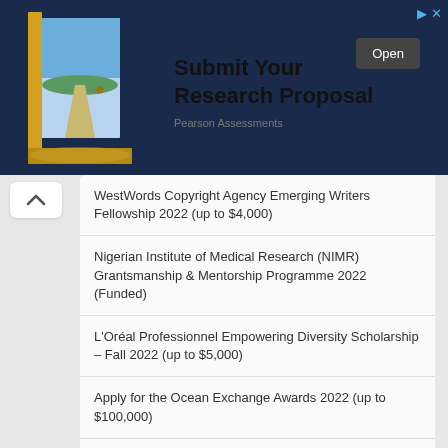[Figure (illustration): Advertisement banner: door opening to a landscape scene on dark blue background, with 'Submit Your Research Proposal' text, 'Open' button, and 'Pearson Assessments' subtitle]
WestWords Copyright Agency Emerging Writers Fellowship 2022 (up to $4,000)
Nigerian Institute of Medical Research (NIMR) Grantsmanship & Mentorship Programme 2022 (Funded)
L'Oréal Professionnel Empowering Diversity Scholarship – Fall 2022 (up to $5,000)
Apply for the Ocean Exchange Awards 2022 (up to $100,000)
Eisenhower Fellowships Global Programme 2023 (Fully-funded to the United States)
African Postdoctoral Training Initiative (APTI) Fellowships 2022 (Funded)